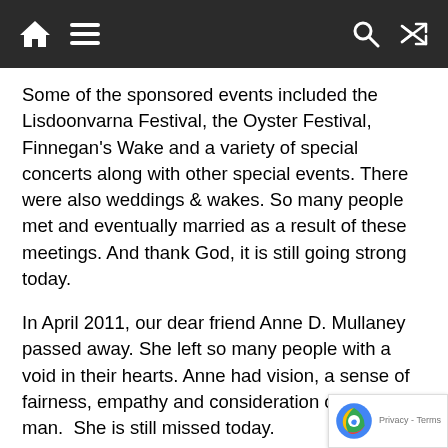[Navigation bar with home, menu, search, and shuffle icons]
Some of the sponsored events included the Lisdoonvarna Festival, the Oyster Festival, Finnegan’s Wake and a variety of special concerts along with other special events. There were also weddings & wakes. So many people met and eventually married as a result of these meetings. And thank God, it is still going strong today.
In April 2011, our dear friend Anne D. Mullaney passed away. She left so many people with a void in their hearts. Anne had vision, a sense of fairness, empathy and consideration of her fellow man.  She is still missed today.
Another big event coming up in June is a Retirement Celebration for Ballad Singer Terry Griffith. Terry has been a signer and musician for at